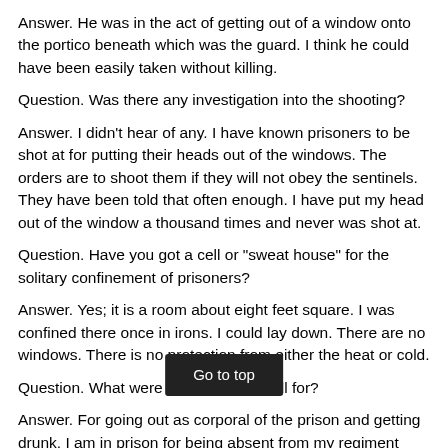Answer. He was in the act of getting out of a window onto the portico beneath which was the guard. I think he could have been easily taken without killing.
Question. Was there any investigation into the shooting?
Answer. I didn't hear of any. I have known prisoners to be shot at for putting their heads out of the windows. The orders are to shoot them if they will not obey the sentinels. They have been told that often enough. I have put my head out of the window a thousand times and never was shot at.
Question. Have you got a cell or "sweat house" for the solitary confinement of prisoners?
Answer. Yes; it is a room about eight feet square. I was confined there once in irons. I could lay down. There are no windows. There is no protection from either the heat or cold.
Question. What were you put in the cell for?
Answer. For going out as corporal of the prison and getting drunk. I am in prison for being absent from my regiment without leave. My sentence will be out to-day or to-m[orrow]. I have been in prison six months. I was there one month be[fore the char]ge was preferred